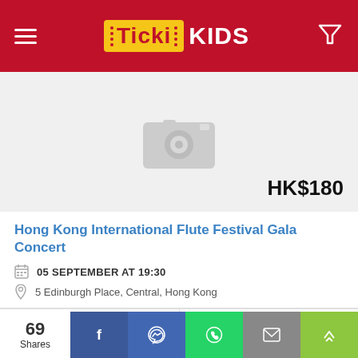TickiKIDS
[Figure (photo): Placeholder image with camera icon on light grey background]
HK$180
Hong Kong International Flute Festival Gala Concert
05 SEPTEMBER AT 19:30
5 Edinburgh Place, Central, Hong Kong
3+
Music
69 Shares